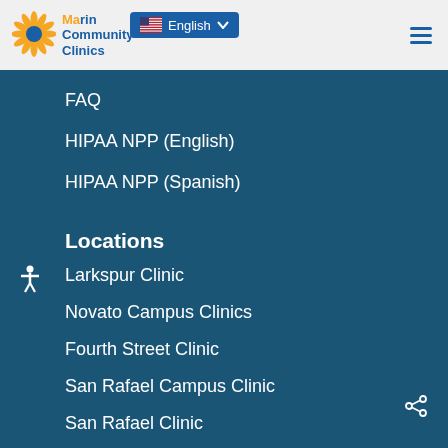Marin Community Clinics — English language selector, hamburger menu
FAQ
HIPAA NPP (English)
HIPAA NPP (Spanish)
Locations
Larkspur Clinic
Novato Campus Clinics
Fourth Street Clinic
San Rafael Campus Clinic
San Rafael Clinic
Greenbrae Clinic